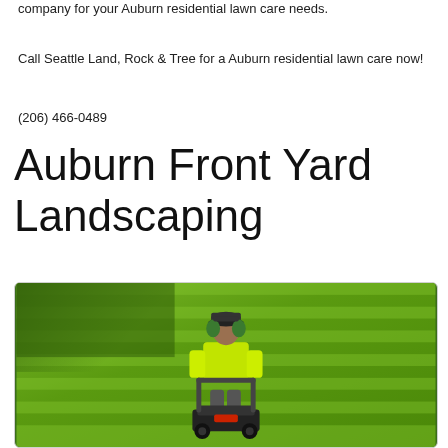company for your Auburn residential lawn care needs.
Call Seattle Land, Rock & Tree for a Auburn residential lawn care now!
(206) 466-0489
Auburn Front Yard Landscaping
[Figure (photo): A person wearing a yellow high-visibility shirt and green ear protection mowing a large green lawn with a walk-behind mower, viewed from behind.]